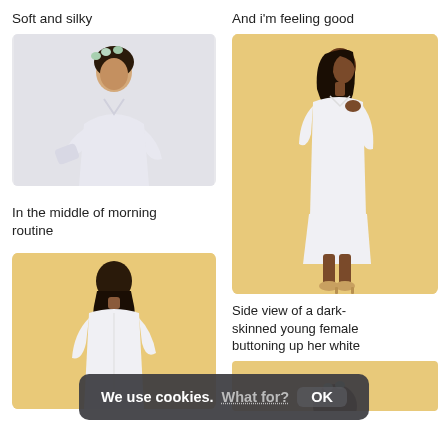Soft and silky
[Figure (photo): Woman wearing a white bathrobe with flowers in her hair, holding something white, gray background]
In the middle of morning routine
[Figure (photo): Woman with dark hair wearing a white dress, back view, yellow/beige background]
And i'm feeling good
[Figure (photo): Dark-skinned young woman in white shirt dress, side profile, buttoning up, beige background]
Side view of a dark-skinned young female buttoning up her white
[Figure (photo): Partial view of woman with flowers in hair, bottom of page]
We use cookies. What for? OK